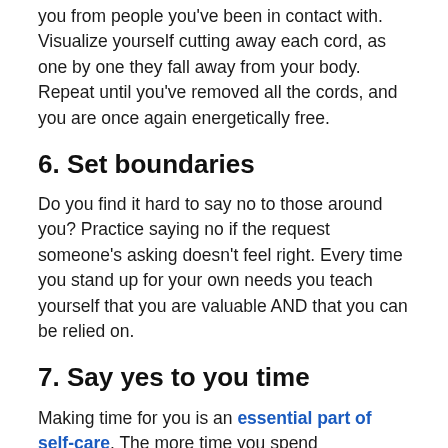you from people you've been in contact with. Visualize yourself cutting away each cord, as one by one they fall away from your body. Repeat until you've removed all the cords, and you are once again energetically free.
6. Set boundaries
Do you find it hard to say no to those around you? Practice saying no if the request someone's asking doesn't feel right. Every time you stand up for your own needs you teach yourself that you are valuable AND that you can be relied on.
7. Say yes to you time
Making time for you is an essential part of self-care. The more time you spend discovering what makes you happy, the brighter and clearer your aura will become. Make a list of things that delight you, from bubble baths to trips to the beach. Jot them down. At least once a week, pick